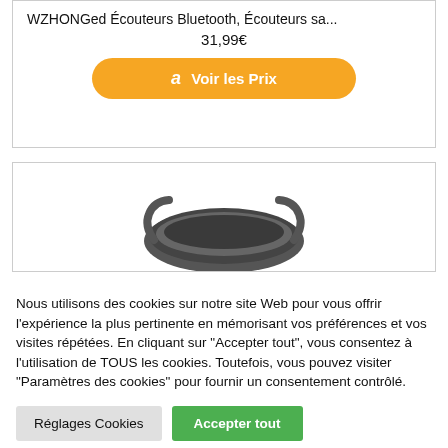WZHONGed Écouteurs Bluetooth, Écouteurs sa...
31,99€
[Figure (screenshot): Amazon 'Voir les Prix' orange button with Amazon logo]
[Figure (photo): Partial image of black over-ear headphones visible at bottom of product card]
Nous utilisons des cookies sur notre site Web pour vous offrir l'expérience la plus pertinente en mémorisant vos préférences et vos visites répétées. En cliquant sur "Accepter tout", vous consentez à l'utilisation de TOUS les cookies. Toutefois, vous pouvez visiter "Paramètres des cookies" pour fournir un consentement contrôlé.
Réglages Cookies
Accepter tout